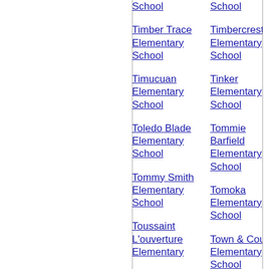School
School
Timber Trace Elementary School
Timbercrest Elementary School
Timucuan Elementary School
Tinker Elementary School
Toledo Blade Elementary School
Tommie Barfield Elementary School
Tommy Smith Elementary School
Tomoka Elementary School
Toussaint L'ouverture Elementary
Town & Country Elementary School
Tradewinds Elementary School
Trafalgar Elementary School
Trapnell Elementary School
Treadway Elementary School
Treasure Island Elementary School
Trenton Elementary School
Triangle Elementary School
Trinity Charter School
Trinity Elementary School
Tropic Isles Elementary